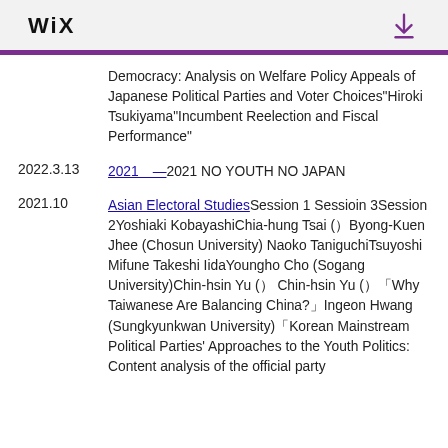WiX
Democracy: Analysis on Welfare Policy Appeals of Japanese Political Parties and Voter Choices"Hiroki Tsukiyama"Incumbent Reelection and Fiscal Performance"
2022.3.13
2021 — 2021 NO YOUTH NO JAPAN
2021.10
Asian Electoral Studies Session 1 Sessioin 3Session 2Yoshiaki KobayashiChia-hung Tsai (）Byong-Kuen Jhee (Chosun University) Naoko TaniguchiTsuyoshi Mifune Takeshi IidaYoungho Cho (Sogang University)Chin-hsin Yu (） Chin-hsin Yu (） 「Why Taiwanese Are Balancing China?」Ingeon Hwang (Sungkyunkwan University) 「Korean Mainstream Political Parties' Approaches to the Youth Politics: Content analysis of the official party